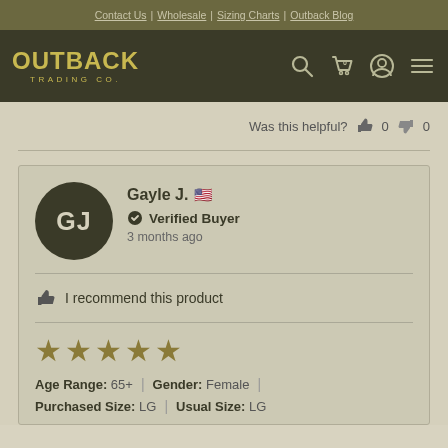Contact Us | Wholesale | Sizing Charts | Outback Blog
[Figure (logo): Outback Trading Co. logo with navigation icons (search, cart, account, menu)]
Was this helpful? 👍 0 👎 0
GJ — Gayle J. 🇺🇸 — Verified Buyer — 3 months ago
👍 I recommend this product
★★★★★ (5 stars) — Age Range: 65+ | Gender: Female | Purchased Size: LG | Usual Size: LG